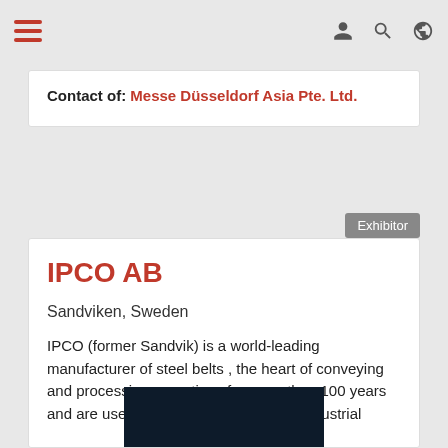Navigation bar with hamburger menu and icons
Contact of: Messe Düsseldorf Asia Pte. Ltd.
Exhibitor
IPCO AB
Sandviken, Sweden
IPCO (former Sandvik) is a world-leading manufacturer of steel belts , the heart of conveying and processing operations for more than 100 years and are used across a broad range of industrial
[Figure (photo): Dark navy blue image block at bottom of IPCO card]